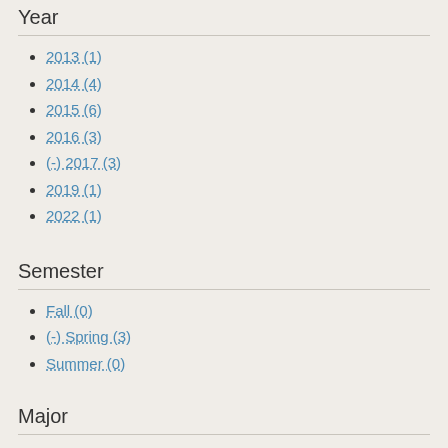Year
2013 (1)
2014 (4)
2015 (6)
2016 (3)
(-) 2017 (3)
2019 (1)
2022 (1)
Semester
Fall (0)
(-) Spring (3)
Summer (0)
Major
Arboriculture and Landscape Management (0)
Baking and Pastry Arts (1)
Baking Arts and Service Management (4)
Biology (1)